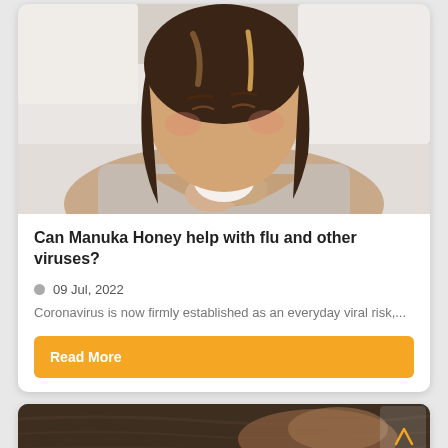[Figure (photo): Young woman with dark wavy hair lying in bed, blowing her nose with a white tissue against white bedding background.]
Can Manuka Honey help with flu and other viruses?
09 Jul, 2022
Coronavirus is now firmly established as an everyday viral risk,...
Read More
[Figure (photo): Partial view of a second article card showing a dark background image, partially visible at the bottom of the page.]